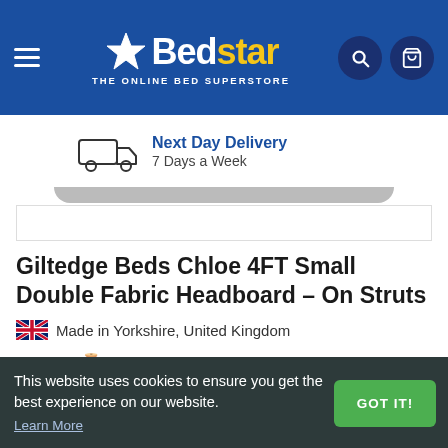[Figure (logo): Bedstar logo - white star icon with 'Bed' in white and 'star' in yellow, subtitle 'THE ONLINE BED SUPERSTORE' on blue header background]
[Figure (infographic): Truck icon with 'Next Day Delivery - 7 Days a Week' delivery information]
Giltedge Beds Chloe 4FT Small Double Fabric Headboard - On Struts
🇬🇧 Made in Yorkshire, United Kingdom
✓ stock  🧵 Request Fabric Samples
£114.99
This website uses cookies to ensure you get the best experience on our website. Learn More